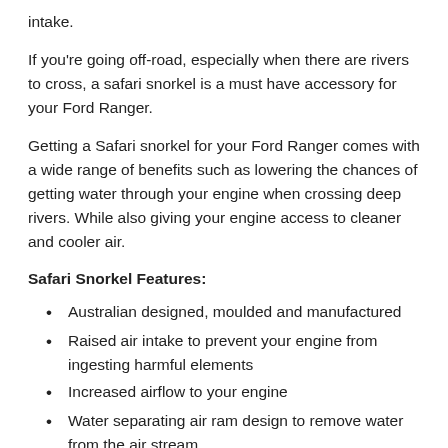intake.
If you're going off-road, especially when there are rivers to cross, a safari snorkel is a must have accessory for your Ford Ranger.
Getting a Safari snorkel for your Ford Ranger comes with a wide range of benefits such as lowering the chances of getting water through your engine when crossing deep rivers. While also giving your engine access to cleaner and cooler air.
Safari Snorkel Features:
Australian designed, moulded and manufactured
Raised air intake to prevent your engine from ingesting harmful elements
Increased airflow to your engine
Water separating air ram design to remove water from the air stream
Durable and UV stable snorkel and air ram for